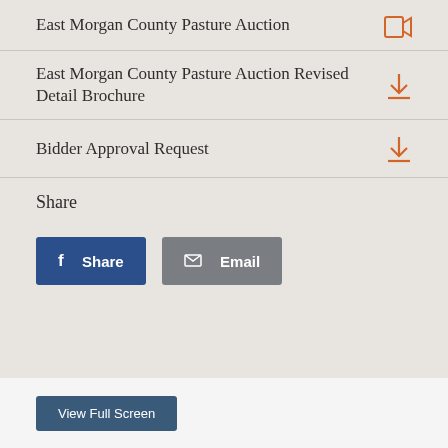East Morgan County Pasture Auction
East Morgan County Pasture Auction Revised Detail Brochure
Bidder Approval Request
Share
[Figure (other): Facebook Share button (blue) and Email button (gray)]
[Figure (other): View Full Screen button (dark blue)]